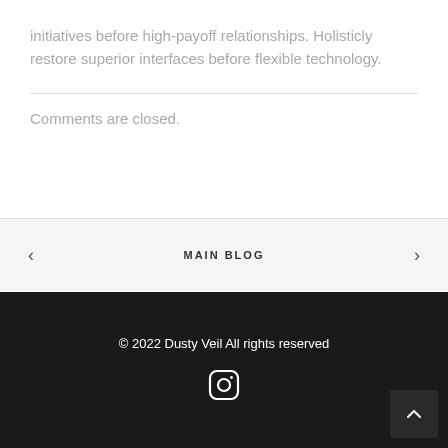initiatives before high-payoff relationships. Holisticly restore superior interfaces before flexible technology.
Comments are closed.
MAIN BLOG
© 2022 Dusty Veil All rights reserved